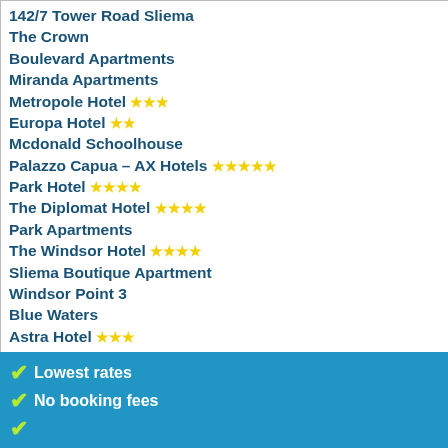142/7 Tower Road Sliema
The Crown
Boulevard Apartments
Miranda Apartments
Metropole Hotel ★★★
Europa Hotel ★★
Mcdonald Schoolhouse
Palazzo Capua – AX Hotels ★★★★★
Park Hotel ★★★★
The Diplomat Hotel ★★★★
Park Apartments
The Windsor Hotel ★★★★
Sliema Boutique Apartment
Windsor Point 3
Blue Waters
Astra Hotel ★★★
Windsor Point 2
Preluna Hotel & Spa ★★★★
✔ Lowest rates
✔ No booking fees
✔